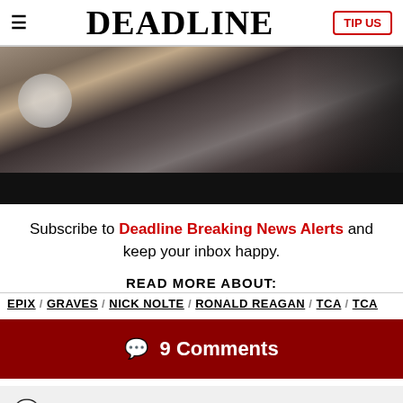DEADLINE
[Figure (photo): A woman with tattoos in a dark setting, photo cropped showing partial view]
Subscribe to Deadline Breaking News Alerts and keep your inbox happy.
READ MORE ABOUT:
EPIX / GRAVES / NICK NOLTE / RONALD REAGAN / TCA / TCA
💬 9 Comments
💬 9 Comments